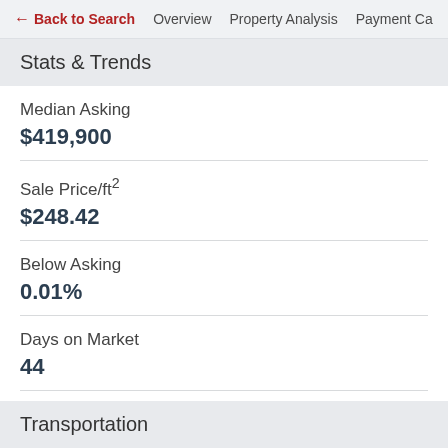← Back to Search   Overview   Property Analysis   Payment Ca
Stats & Trends
Median Asking
$419,900
Sale Price/ft²
$248.42
Below Asking
0.01%
Days on Market
44
Transportation